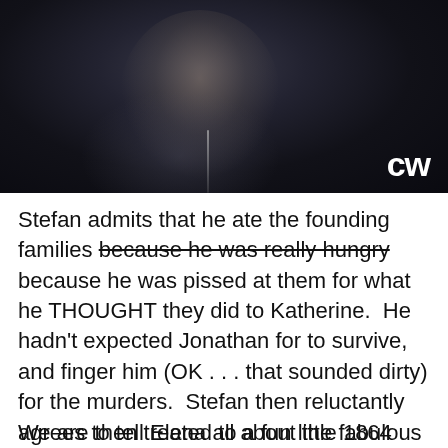[Figure (photo): Dark moody screenshot from a TV show (The Vampire Diaries on The CW) showing a young man's face partially lit against a dark background, wearing a dark zip-up jacket. The CW network logo appears in the bottom right corner.]
Stefan admits that he ate the founding families because he was really hungry because he was pissed at them for what he THOUGHT they did to Katherine.  He hadn't expected Jonathan for to survive, and finger him (OK . . . that sounded dirty) for the murders.  Stefan then reluctantly agrees to tell Elena all about the fabulous life / redemption arc of 1864-era Dark Stefan.  After all, better she find out all the bad stuff from HIM, than from her half-chewed wackadoo ancestor!
We are then treated to a fun little 1864 taste of what it